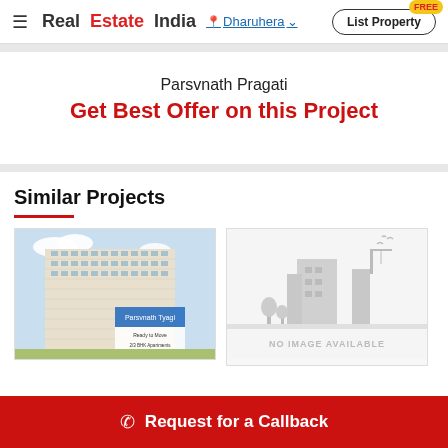RealEstateIndia — Dharuhera — List Property
Parsvnath Pragati
Get Best Offer on this Project
Similar Projects
[Figure (photo): Exterior rendering of a tall apartment building (Parsvnath Tyagi)]
[Figure (illustration): No image available placeholder with silhouette of buildings]
Request for a Callback